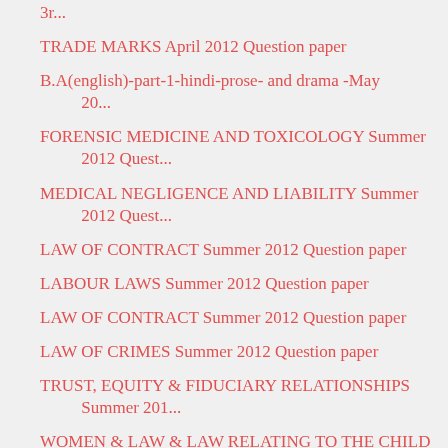3r...
TRADE MARKS April 2012 Question paper
B.A(english)-part-1-hindi-prose- and drama -May 20...
FORENSIC MEDICINE AND TOXICOLOGY Summer 2012 Quest...
MEDICAL NEGLIGENCE AND LIABILITY Summer 2012 Quest...
LAW OF CONTRACT Summer 2012 Question paper
LABOUR LAWS Summer 2012 Question paper
LAW OF CONTRACT Summer 2012 Question paper
LAW OF CRIMES Summer 2012 Question paper
TRUST, EQUITY & FIDUCIARY RELATIONSHIPS Summer 201...
WOMEN & LAW & LAW RELATING TO THE CHILD